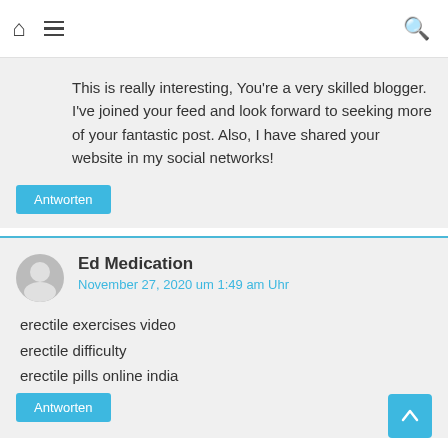Home | Menu | Search
This is really interesting, You're a very skilled blogger. I've joined your feed and look forward to seeking more of your fantastic post. Also, I have shared your website in my social networks!
Antworten
Ed Medication
November 27, 2020 um 1:49 am Uhr
erectile exercises video
erectile difficulty
erectile pills online india
Antworten